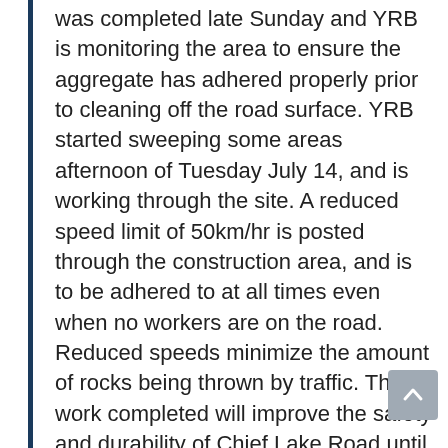was completed late Sunday and YRB is monitoring the area to ensure the aggregate has adhered properly prior to cleaning off the road surface. YRB started sweeping some areas afternoon of Tuesday July 14, and is working through the site. A reduced speed limit of 50km/hr is posted through the construction area, and is to be adhered to at all times even when no workers are on the road. Reduced speeds minimize the amount of rocks being thrown by traffic. The work completed will improve the safety and durability of Chief Lake Road until a paving project can be done. YRB has contacted local RCMP to monitor speed limit. In addition, we had Commercial Vehicle Safety and Enforcement on site yesterday, to assist with ensuring drivers